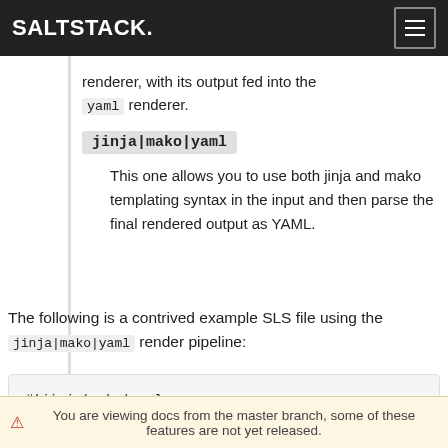SALTSTACK
renderer, with its output fed into the yaml renderer.
jinja|mako|yaml
This one allows you to use both jinja and mako templating syntax in the input and then parse the final rendered output as YAML.
The following is a contrived example SLS file using the jinja|mako|yaml render pipeline:
#!jinja|mako|yaml

An_Example:
⚠ You are viewing docs from the master branch, some of these features are not yet released.